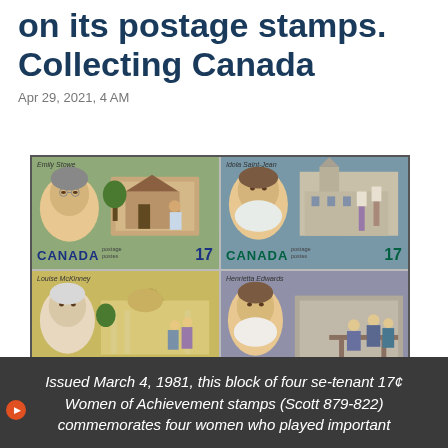on its postage stamps. Collecting Canada
Apr 29, 2021, 4 AM
[Figure (photo): Block of four se-tenant 17¢ Canada postage stamps featuring Women of Achievement: Emily Stowe (top left), Idola Saint-Jean (top right), Louise McKinney (bottom left), Henrietta Edwards (bottom right). Each stamp shows a portrait and historical scene with 'CANADA postage postes 17' text.]
Issued March 4, 1981, this block of four se-tenant 17¢ Women of Achievement stamps (Scott 879-822) commemorates four women who played important